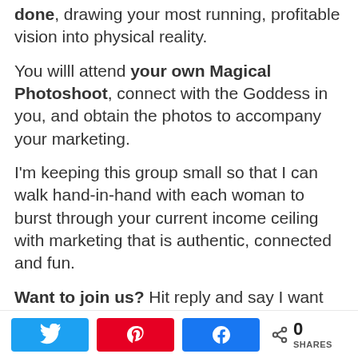done, drawing your most running, profitable vision into physical reality.
You willl attend your own Magical Photoshoot, connect with the Goddess in you, and obtain the photos to accompany your marketing.
I'm keeping this group small so that I can walk hand-in-hand with each woman to burst through your current income ceiling with marketing that is authentic, connected and fun.
Want to join us? Hit reply and say I want
[Figure (other): Social sharing bar with Twitter, Pinterest, and Facebook share buttons, plus a share count showing 0 SHARES]